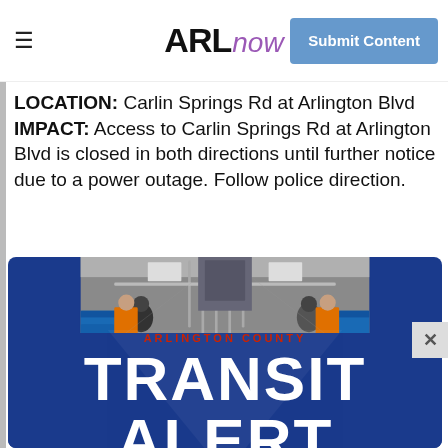ARLnow — Submit Content
LOCATION: Carlin Springs Rd at Arlington Blvd
IMPACT: Access to Carlin Springs Rd at Arlington Blvd is closed in both directions until further notice due to a power outage. Follow police direction.
[Figure (photo): Arlington County Transit Alert banner image showing interior of a metro/subway train car with passengers and workers in orange vests, overlaid with blue background. Text reads 'ARLINGTON COUNTY' in red and 'TRANSIT ALERT' in large white bold letters.]